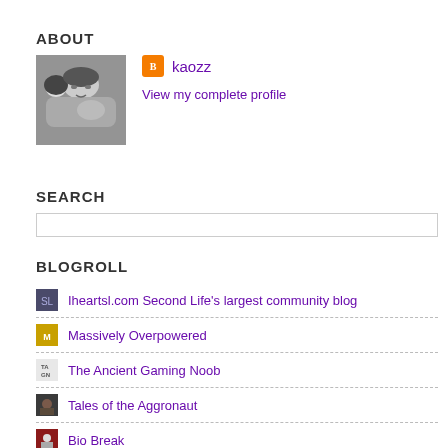ABOUT
[Figure (photo): Black and white profile photo of a person lying down, looking up at camera]
kaozz
View my complete profile
SEARCH
BLOGROLL
Iheartsl.com Second Life's largest community blog
Massively Overpowered
The Ancient Gaming Noob
Tales of the Aggronaut
Bio Break
SL Good Deals